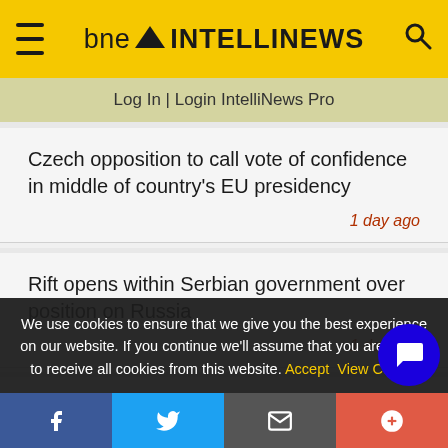bne INTELLINEWS
Log In | Login IntelliNews Pro
Czech opposition to call vote of confidence in middle of country's EU presidency
1 day ago
Rift opens within Serbian government over position on Russia
1 day ago
This b...
We use cookies to ensure that we give you the best experience on our website. If you continue we'll assume that you are happy to receive all cookies from this website. Accept View Cookie